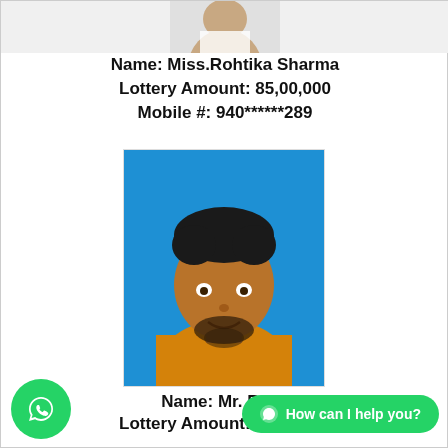[Figure (photo): Partial photo of a person at the top of the page, cropped, showing only bottom portion of face/shoulders]
Name: Miss.Rohtika Sharma
Lottery Amount: 85,00,000
Mobile #: 940******289
[Figure (photo): Portrait photo of a young man with dark hair and beard wearing an orange shirt, against a blue background]
Name: Mr. Rosy
Lottery Amount: 80,00,000